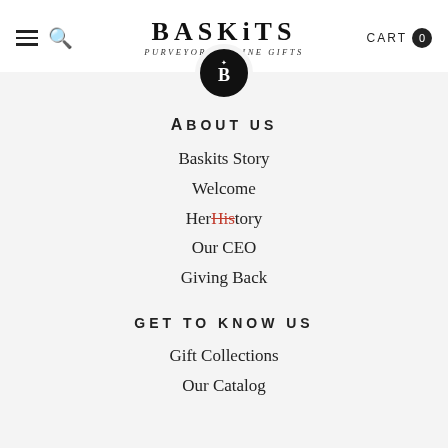BASKITS — PURVEYORS of FINE GIFTS | CART 0
[Figure (logo): Circular black badge with white B and crown, Baskits brand logo]
ABOUT US
Baskits Story
Welcome
HerHistory (with 'His' struck through in red)
Our CEO
Giving Back
GET TO KNOW US
Gift Collections
Our Catalog